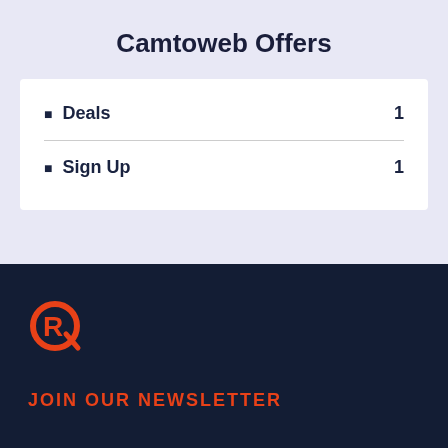Camtoweb Offers
Deals  1
Sign Up  1
[Figure (logo): Rappler-style R logo in orange/red on dark navy background]
JOIN OUR NEWSLETTER